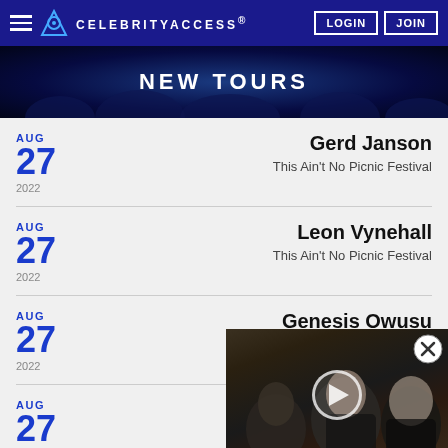CELEBRITY ACCESS — LOGIN | JOIN
NEW TOURS
AUG 27 2022 — Gerd Janson — This Ain't No Picnic Festival
AUG 27 2022 — Leon Vynehall — This Ain't No Picnic Festival
AUG 27 2022 — Genesis Owusu — This Ain't No Picnic Festival
AUG 27 2022
[Figure (screenshot): Video overlay showing people at an event with a play button and close (X) button]